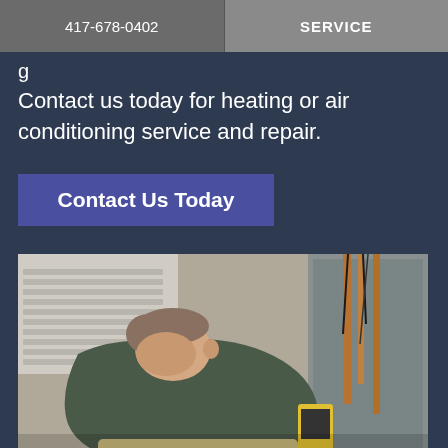417-678-0402 | SERVICE
Contact us today for heating or air conditioning service and repair.
Contact Us Today
[Figure (photo): HVAC technician leaning over equipment, working on refrigerant gauges and copper pipes on an air conditioning unit]